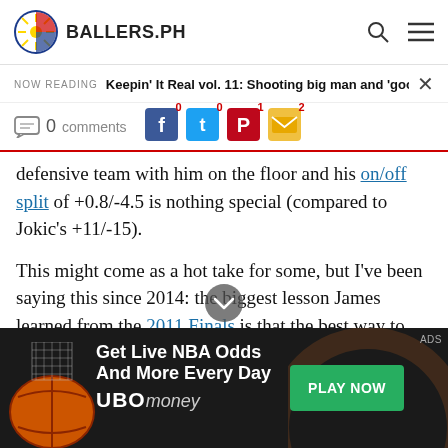BALLERS.PH
NOW READING   Keepin' It Real vol. 11: Shooting big man and 'good stats, bad
0 comments   0   0   1   2
defensive team with him on the floor and his on/off split of +0.8/-4.5 is nothing special (compared to Jokic's +11/-15).
This might come as a hot take for some, but I've been saying this since 2014: the biggest lesson James learned from the 2011 Finals is that the best way to get critics to lay off is to simply keep putting up stats. 2014, 2017, and 2018 were basically inflated stats on teams that played
[Figure (infographic): Advertisement banner: Get Live NBA Odds And More Every Day — UBOmoney, with PLAY NOW button and ADS label]